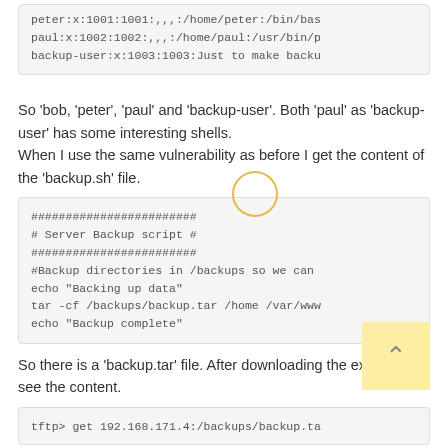peter:x:1001:1001:,,,:/home/peter:/bin/bas
paul:x:1002:1002:,,,:/home/paul:/usr/bin/p
backup-user:x:1003:1003:Just to make backu
So 'bob, 'peter', 'paul' and 'backup-user'. Both 'paul' as 'backup-user' has some interesting shells.
When I use the same vulnerability as before I get the content of the 'backup.sh' file.
########################
# Server Backup script #
########################
#Backup directories in /backups so we can
echo "Backing up data"
tar -cf /backups/backup.tar /home /var/www
echo "Backup complete"
So there is a 'backup.tar' file. After downloading the extract it to see the content.
tftp> get 192.168.171.4:/backups/backup.ta